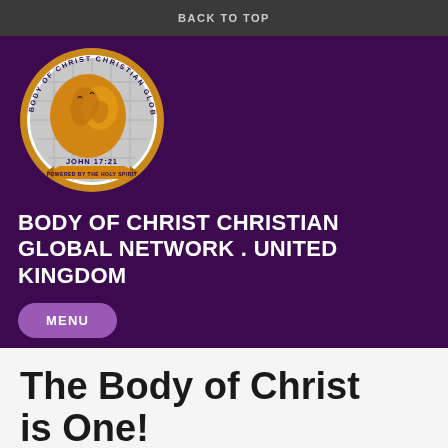BACK TO TOP
[Figure (logo): Body of Christ Christian Global Network circular logo with gold globe on white/silver grid background, gold ring border with text 'BODY OF CHRIST CHRISTIAN GLOBAL NETWORK', 'JOHN 17:21' at bottom, and banner reading 'POWERED BY THE HOLY SPIRIT']
BODY OF CHRIST CHRISTIAN GLOBAL NETWORK . UNITED KINGDOM
MENU
The Body of Christ is One!